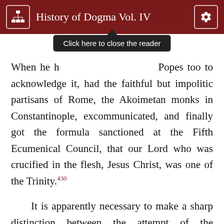History of Dogma Vol. IV
When he had forced the Popes too to acknowledge it, had the faithful but impolitic partisans of Rome, the Akoimetan monks in Constantinople, excommunicated, and finally got the formula sanctioned at the Fifth Ecumenical Council, that our Lord who was crucified in the flesh, Jesus Christ, was one of the Trinity.430
It is apparently necessary to make a sharp distinction between the attempt of the Monophysites to give an extension to the Trishagion in a Theopaschitian sense, and the assertion of the Scythian monks that the doctrinal